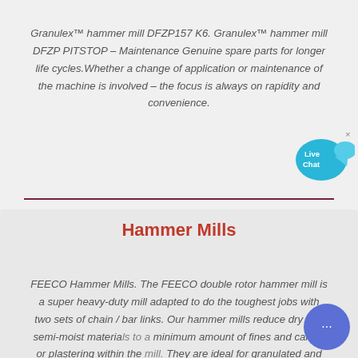Granulex™ hammer mill DFZP157 K6. Granulex™ hammer mill DFZP PITSTOP – Maintenance Genuine spare parts for longer life cycles.Whether a change of application or maintenance of the machine is involved – the focus is always on rapidity and convenience.
[Figure (illustration): Live Chat button with blue speech bubble icons and 'x' close button]
Hammer Mills
FEECO Hammer Mills. The FEECO double rotor hammer mill is a super heavy-duty mill adapted to do the toughest jobs with two sets of chain / bar links. Our hammer mills reduce dry and semi-moist materials to a minimum amount of fines and caking or plastering within the mill. They are ideal for granulated and pelletized materials.
[Figure (illustration): Round blue chat button with ellipsis (…) icon]